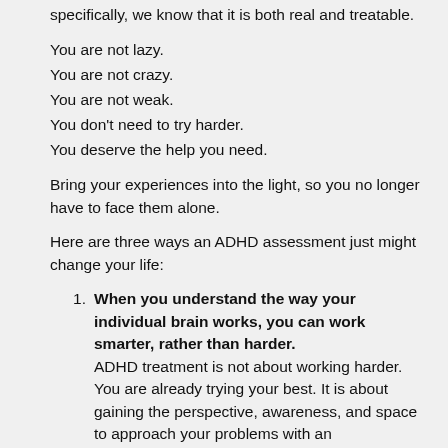specifically, we know that it is both real and treatable.
You are not lazy.
You are not crazy.
You are not weak.
You don't need to try harder.
You deserve the help you need.
Bring your experiences into the light, so you no longer have to face them alone.
Here are three ways an ADHD assessment just might change your life:
When you understand the way your individual brain works, you can work smarter, rather than harder. ADHD treatment is not about working harder. You are already trying your best. It is about gaining the perspective, awareness, and space to approach your problems with an individualized lens. It is about working through feelings of fear and frustration that get in the